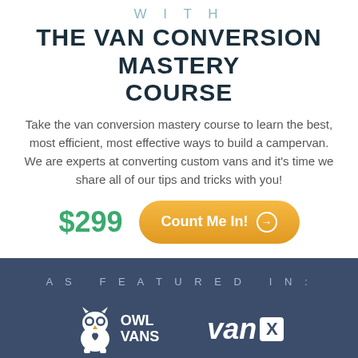WITH
THE VAN CONVERSION MASTERY COURSE
Take the van conversion mastery course to learn the best, most efficient, most effective ways to build a campervan. We are experts at converting custom vans and it's time we share all of our tips and tricks with you!
$299
Count Me In!
AS FEATURED IN:
[Figure (logo): Owl Vans logo with owl icon and text OWL VANS]
[Figure (logo): Van X logo with bold text 'van' and X in white box]